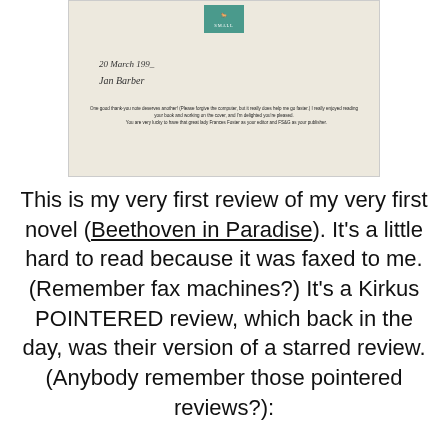[Figure (photo): Scanned image of a letter on aged paper with a teal publisher logo/badge at the top, cursive handwritten date and signature reading '20 March 199_' and 'Jan Barber', followed by a brief printed message: 'One good thank-you note deserves another! (Please forgive the computer, but it really does help me go faster.) I really enjoyed reading your book and working on the cover, and I'm delighted you're pleased. You are very lucky to have that great lady Frances Foster as your editor and FS&G as your publisher.']
This is my very first review of my very first novel (Beethoven in Paradise). It's a little hard to read because it was faxed to me. (Remember fax machines?) It's a Kirkus POINTERED review, which back in the day, was their version of a starred review. (Anybody remember those pointered reviews?):